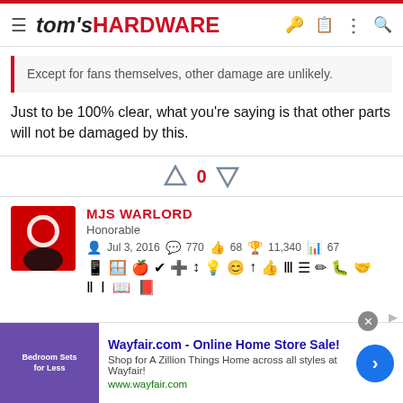tom's HARDWARE
Except for fans themselves, other damage are unlikely.
Just to be 100% clear, what you're saying is that other parts will not be damaged by this.
0
MJS WARLORD
Honorable
Jul 3, 2016  770  68  11,340  67
[Figure (screenshot): Wayfair.com advertisement banner - Online Home Store Sale!]